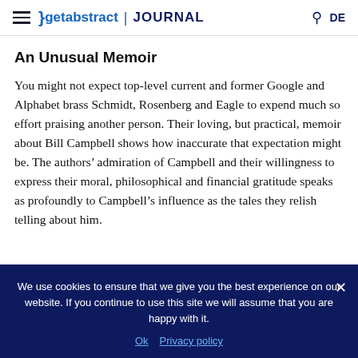getabstract | JOURNAL
An Unusual Memoir
You might not expect top-level current and former Google and Alphabet brass Schmidt, Rosenberg and Eagle to expend much so effort praising another person. Their loving, but practical, memoir about Bill Campbell shows how inaccurate that expectation might be. The authors’ admiration of Campbell and their willingness to express their moral, philosophical and financial gratitude speaks as profoundly to Campbell’s influence as the tales they relish telling about him.
We use cookies to ensure that we give you the best experience on our website. If you continue to use this site we will assume that you are happy with it.
Ok   Privacy policy